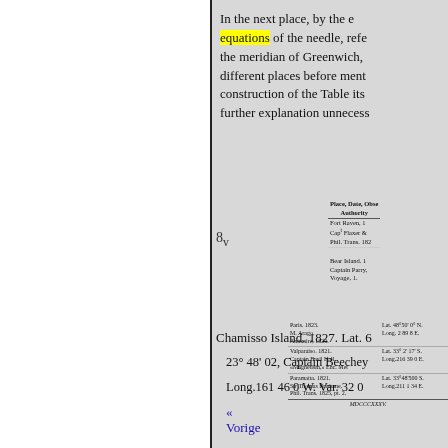In the next place, by the equations of the needle, referred to the meridian of Greenwich, different places before mentioned, construction of the Table itself renders further explanation unnecessary.
[Figure (table-as-image): Small table fragment showing location data with columns for Place, Date, Observations/Authority]
Chamisso Island. 1827. Lat. 6
23° 48' 02, Captain Beechey
Long.161 46 0 W. Var. 32 0
[Figure (table-as-image): Small table with entries for Paris 1823 M. Arago Annuaire 1820; Valparaiso 1821 Captain Basil Hall Magnetism; Paramatta 1821 Sir Thomas Brisbane Phil. Trans. 1825; footer row MDCCCXXXV.]
« Vorige